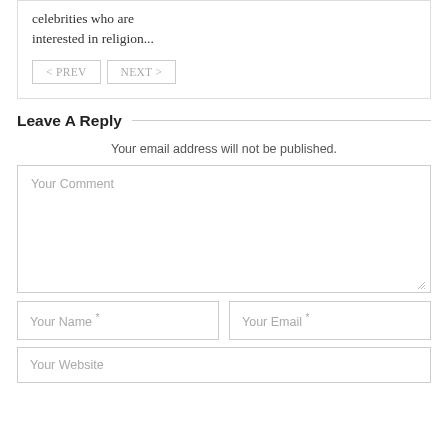celebrities who are interested in religion...
< PREV   NEXT >
Leave A Reply
Your email address will not be published.
Your Comment
Your Name *
Your Email *
Your Website